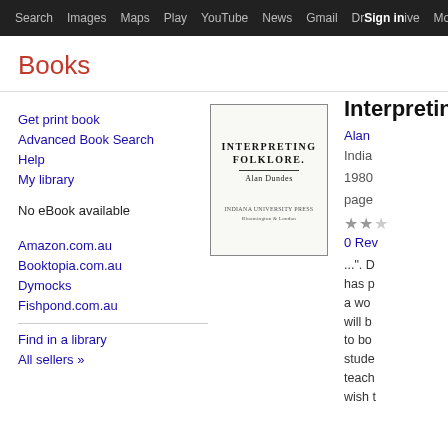Search  Images  Maps  Play  YouTube  News  Gmail  Drive  More  Sign in  ⚙
Books
Interpreting Folk
Get print book
Advanced Book Search
Help
My library
No eBook available
Amazon.com.au
Booktopia.com.au
Dymocks
Fishpond.com.au
Find in a library
All sellers »
[Figure (illustration): Book cover of 'Interpreting Folklore' by Alan Dundes, Indiana University Press]
Alan
Indiana University Press, 1980
pages
★★
0 Reviews
...". D has p a wo will b to bo stude teach wish t